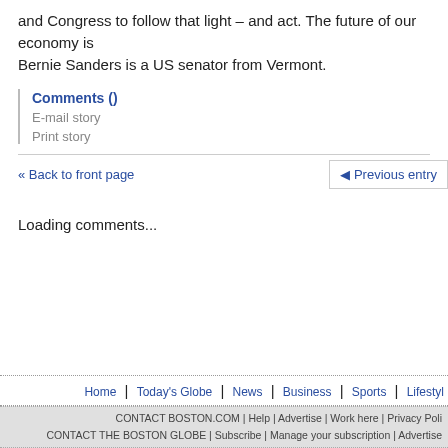and Congress to follow that light – and act. The future of our economy is Bernie Sanders is a US senator from Vermont.
Comments ()
E-mail story
Print story
« Back to front page
◄ Previous entry
Loading comments...
Home | Today's Globe | News | Business | Sports | Lifestyl CONTACT BOSTON.COM | Help | Advertise | Work here | Privacy Poli CONTACT THE BOSTON GLOBE | Subscribe | Manage your subscription | Advertise